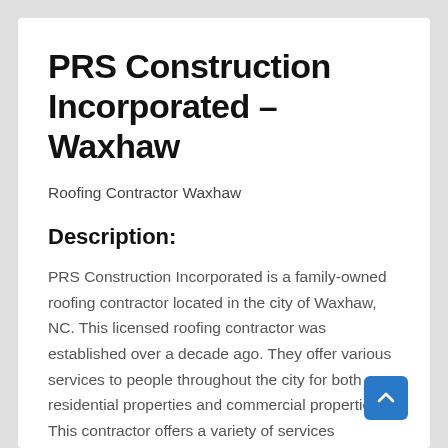PRS Construction Incorporated – Waxhaw
Roofing Contractor Waxhaw
Description:
PRS Construction Incorporated is a family-owned roofing contractor located in the city of Waxhaw, NC. This licensed roofing contractor was established over a decade ago. They offer various services to people throughout the city for both residential properties and commercial properties. This contractor offers a variety of services including roof repairs, roof replacements and general contracting. They also offer remodeling, reconstruction, mold removal, flood & water damage